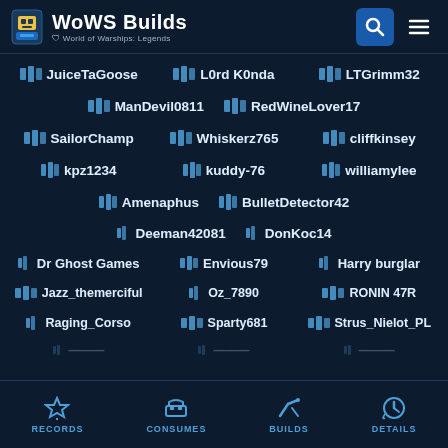WoWS Builds - World of Warships: Legends
JuiceTaGoose
L0rd K0nda
LTGrimm32
ManDevil0811
RedWineLover17
SailorChamp
Whiskerz765
cliffkinsey
kpz1234
kuddy-76
williamylee
Amenaphus
BulletDetector42
Deeman42081
DonKoc14
Dr Ghost Games
Envious79
Harry burglar
Jazz_themerciful
Oz_7890
RONIN 47R
Raging_Corso
Sparty681
Strus_Nielot_PL
RECORDS | CONSUMES | BUILDS | DETAILS